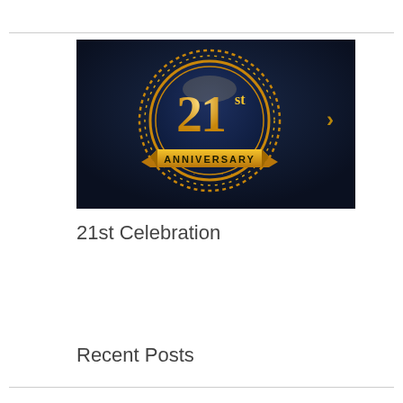[Figure (illustration): 21st Anniversary badge/seal on dark navy background. Gold circular medallion with '21st' in large gold numerals and 'ANNIVERSARY' in a gold ribbon banner below. Decorative gold dotted border ring around the medallion. A gold right-chevron/arrow navigation indicator appears to the right side of the image.]
21st Celebration
Recent Posts